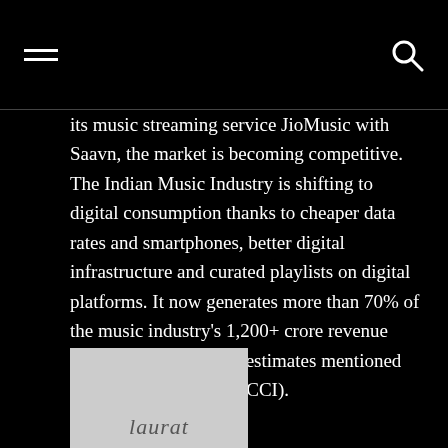[hamburger menu icon] [search icon]
its music streaming service JioMusic with Saavn, the market is becoming competitive. The Indian Music Industry is shifting to digital consumption thanks to cheaper data rates and smartphones, better digital infrastructure and curated playlists on digital platforms. It now generates more than 70% of the music industry's 1,200+ crore revenue annually (according to estimates mentioned by KPMG India and FICCI).
[Figure (photo): Partial image of a logo or text graphic visible at bottom left, showing partial text in grey on light grey background]